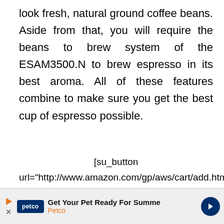look fresh, natural ground coffee beans. Aside from that, you will require the beans to brew system of the ESAM3500.N to brew espresso in its best aroma. All of these features combine to make sure you get the best cup of espresso possible.
[su_button url="http://www.amazon.com/gp/aws/cart/add.html?ASIN.1=B000N31HEM&Quantity.1=1&AWSAccessKeyId=AKIAIDDQ5NTBWMFV4JDA&AssociateTag=etune-20" target="blank" background="#FF5722" size="6" rel="nofollow"]Buy at Amazon[/su_button]
Related Best Super Automatic Espresso Machine 2020: Top 10 of Buyers Review
[Figure (other): Petco advertisement banner: 'Get Your Pet Ready For Summe' with Petco logo and navigation arrow]